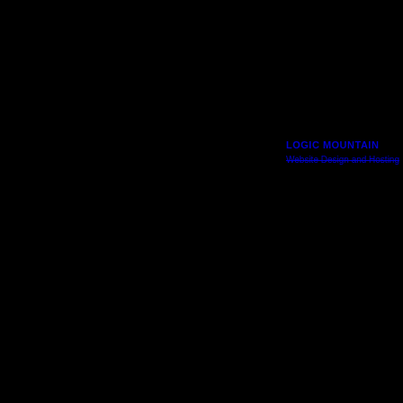LOGIC MOUNTAIN
Website Design and Hosting